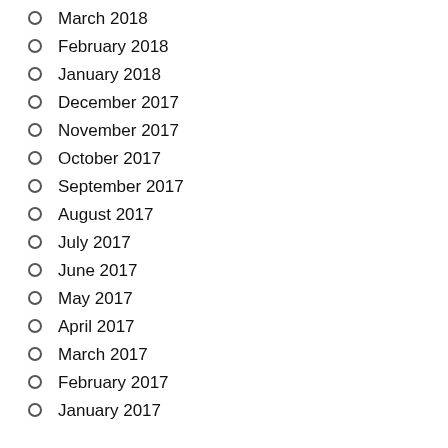March 2018
February 2018
January 2018
December 2017
November 2017
October 2017
September 2017
August 2017
July 2017
June 2017
May 2017
April 2017
March 2017
February 2017
January 2017